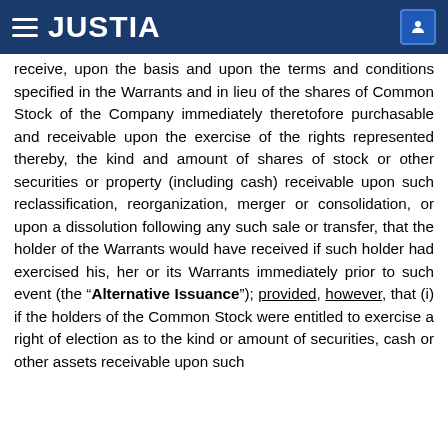JUSTIA
receive, upon the basis and upon the terms and conditions specified in the Warrants and in lieu of the shares of Common Stock of the Company immediately theretofore purchasable and receivable upon the exercise of the rights represented thereby, the kind and amount of shares of stock or other securities or property (including cash) receivable upon such reclassification, reorganization, merger or consolidation, or upon a dissolution following any such sale or transfer, that the holder of the Warrants would have received if such holder had exercised his, her or its Warrants immediately prior to such event (the “Alternative Issuance”); provided, however, that (i) if the holders of the Common Stock were entitled to exercise a right of election as to the kind or amount of securities, cash or other assets receivable upon such